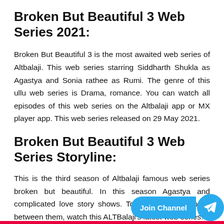Broken But Beautiful 3 Web Series 2021:
Broken But Beautiful 3 is the most awaited web series of Altbalaji. This web series starring Siddharth Shukla as Agastya and Sonia rathee as Rumi. The genre of this ullu web series is Drama, romance. You can watch all episodes of this web series on the Altbalaji app or MX player app. This web series released on 29 May 2021.
Broken But Beautiful 3 Web Series Storyline:
This is the third season of Altbalaji famous web series broken but beautiful. In this season Agastya and complicated love story shows. To know what happens between them, watch this ALTBalaji's latest web series.